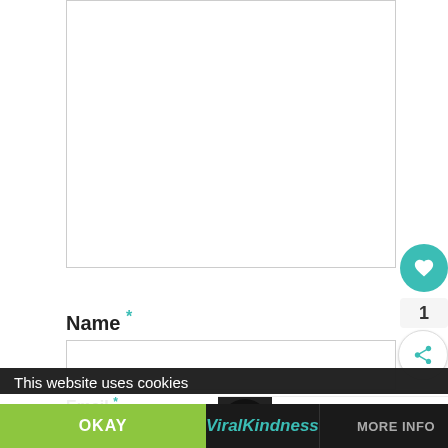[Figure (screenshot): Large empty white text area input box with grey border]
[Figure (other): Teal circular heart/like button with white heart icon, showing count of 1, and a share button below]
Name *
[Figure (screenshot): Empty white input field for Name]
[Figure (other): What's Next panel with thumbnail image of 'Life Doesn't Always Go T...' article]
Email *
This website uses cookies
OKAY
ViralKindness
MORE INFO